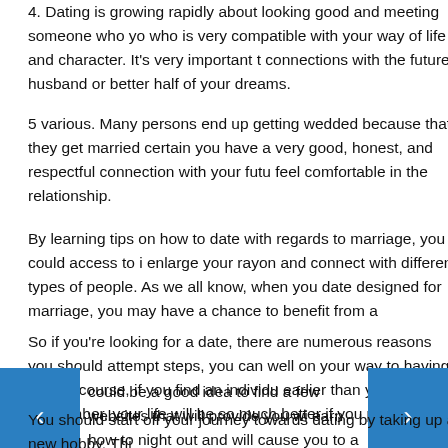4. Dating is growing rapidly about looking good and meeting someone who yo who is very compatible with your way of life and character. It's very important t connections with the future husband or better half of your dreams.
5 various. Many persons end up getting wedded because that they get married certain you have a very good, honest, and respectful connection with your futu feel comfortable in the relationship.
By learning tips on how to date with regards to marriage, you could access to i enlarge your rayon and connect with different types of people. As we all know, when you date designed for marriage, you may have a chance to benefit from a
So if you're looking for a date, there are numerous reasons you should attempt steps, you can well on your way to having fun. Of course, if you find an individu earlier than you believed. Remember, your life will be so much better if you pos
could be a good idea to find a few websites that will provide you wi earn how to night out and will cause you to a happy, powerful, life lo
You should start off your journey towards dating by taking up a new hobby. Thi